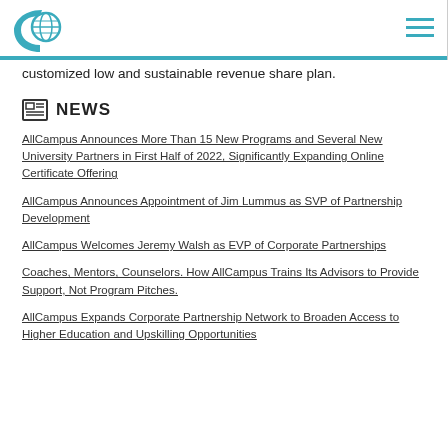AllCampus logo and navigation
customized low and sustainable revenue share plan.
NEWS
AllCampus Announces More Than 15 New Programs and Several New University Partners in First Half of 2022, Significantly Expanding Online Certificate Offering
AllCampus Announces Appointment of Jim Lummus as SVP of Partnership Development
AllCampus Welcomes Jeremy Walsh as EVP of Corporate Partnerships
Coaches, Mentors, Counselors. How AllCampus Trains Its Advisors to Provide Support, Not Program Pitches.
AllCampus Expands Corporate Partnership Network to Broaden Access to Higher Education and Upskilling Opportunities